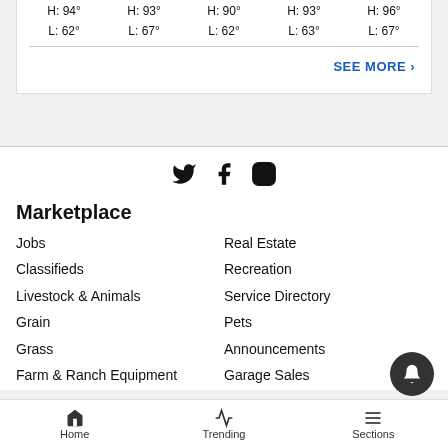| H: 94° | H: 93° | H: 90° | H: 93° | H: 96° |
| L: 62° | L: 67° | L: 62° | L: 63° | L: 67° |
SEE MORE ›
[Figure (logo): Social media icons: Twitter, Facebook, Instagram]
Marketplace
Jobs
Real Estate
Classifieds
Recreation
Livestock & Animals
Service Directory
Grain
Pets
Grass
Announcements
Farm & Ranch Equipment
Garage Sales
Home   Trending   Sections